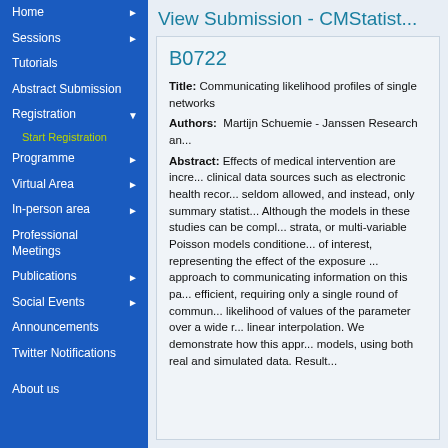View Submission - CMStatist...
Home ►
Sessions ►
Tutorials
Abstract Submission
Registration ▼
Start Registration
Programme ►
Virtual Area ►
In-person area ►
Professional Meetings
Publications ►
Social Events ►
Announcements
Twitter Notifications
About us
B0722
Title: Communicating likelihood profiles of single networks
Authors: Martijn Schuemie - Janssen Research an...
Abstract: Effects of medical intervention are incre... clinical data sources such as electronic health recor... seldom allowed, and instead, only summary statist... Although the models in these studies can be compl... strata, or multi-variable Poisson models conditione... of interest, representing the effect of the exposure ... approach to communicating information on this pa... efficient, requiring only a single round of commun... likelihood of values of the parameter over a wide r... linear interpolation. We demonstrate how this appr... models, using both real and simulated data. Result...